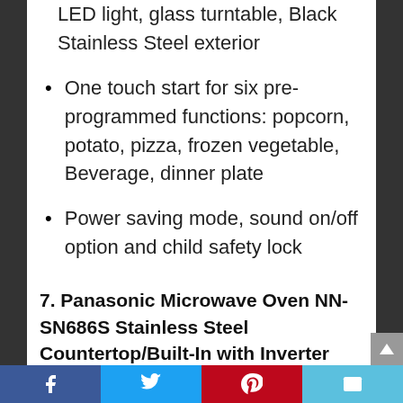LED light, glass turntable, Black Stainless Steel exterior
One touch start for six pre-programmed functions: popcorn, potato, pizza, frozen vegetable, Beverage, dinner plate
Power saving mode, sound on/off option and child safety lock
7. Panasonic Microwave Oven NN-SN686S Stainless Steel Countertop/Built-In with Inverter Technology and Genius Sensor, 1.2 Cu. Ft, 1200W